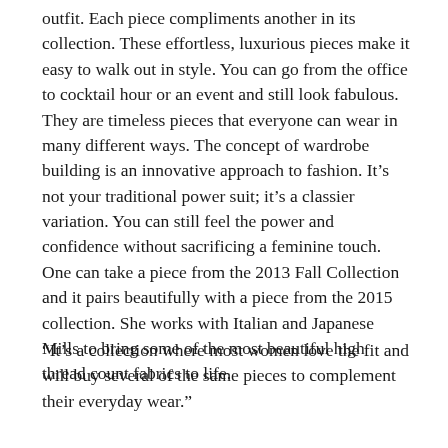outfit. Each piece compliments another in its collection. These effortless, luxurious pieces make it easy to walk out in style. You can go from the office to cocktail hour or an event and still look fabulous. They are timeless pieces that everyone can wear in many different ways. The concept of wardrobe building is an innovative approach to fashion. It's not your traditional power suit; it's a classier variation. You can still feel the power and confidence without sacrificing a feminine touch. One can take a piece from the 2013 Fall Collection and it pairs beautifully with a piece from the 2015 collection. She works with Italian and Japanese Mills to bring some of the most beautiful high thread count fabrics to life.
“It’s a collection where most women love the fit and will buy several of the same pieces to complement their everyday wear.”